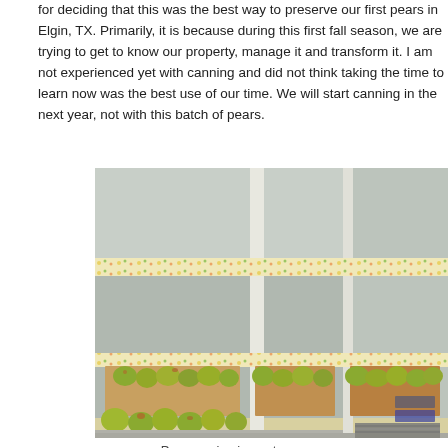for deciding that this was the best way to preserve our first pears in Elgin, TX. Primarily, it is because during this first fall season, we are trying to get to know our property, manage it and transform it. I am not experienced yet with canning and did not think taking the time to learn now was the best use of our time. We will start canning in the next year, not with this batch of pears.
[Figure (photo): Photograph of pantry shelves lined with colorful shelf liner paper, holding boxes of green and yellow pears curing on multiple shelf levels in a corner pantry.]
Pears curing in pantry